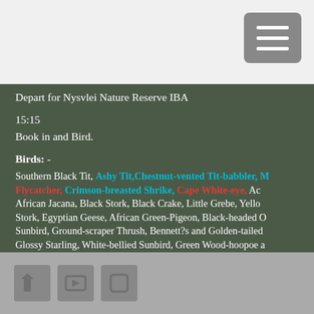[Figure (screenshot): Menu button (hamburger icon) in top right corner on light gray background]
Depart for Nysvlei Nature Reserve IBA
15:15
Book in and Bird.
Birds: -
Southern Black Tit, Ashy Tit, Chestnut-vented Tit-babbler, [Marico] Flycatcher, Crimson-breasted Shrike, Cape White-eye, Ac... African Jacana, Black Stork, Black Crake, Little Grebe, Yello... Stork, Egyptian Geese, African Green-Pigeon, Black-headed O... Sunbird, Ground-scraper Thrush, Bennett?s and Golden-tailed... Glossy Starling, White-bellied Sunbird, Green Wood-hoopoe a... fronted Canary, Common Fiscal, Bronze Mannikin, White-bro... Blue Waxbill, Red-billed Firefinch.
Social media icons footer